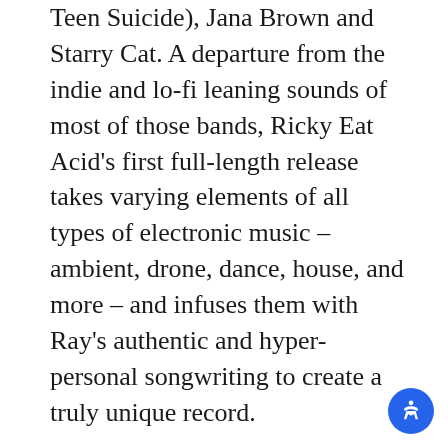Teen Suicide), Jana Brown and Starry Cat. A departure from the indie and lo-fi leaning sounds of most of those bands, Ricky Eat Acid's first full-length release takes varying elements of all types of electronic music – ambient, drone, dance, house, and more – and infuses them with Ray's authentic and hyper-personal songwriting to create a truly unique record.
Terry Riley – In C [Reissue/1968] LP (Classical Music On Vinyl)
California composer Terry Riley launched what is now known as the minimalist movement with his revolutionary classic In C